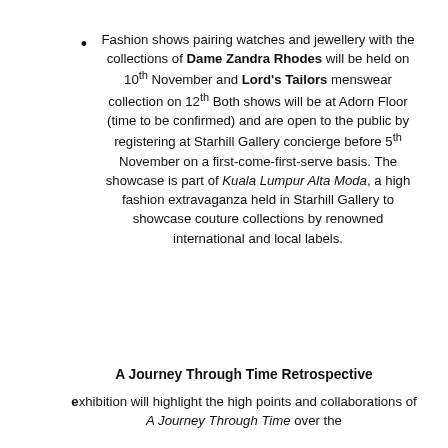Fashion shows pairing watches and jewellery with the collections of Dame Zandra Rhodes will be held on 10th November and Lord's Tailors menswear collection on 12th Both shows will be at Adorn Floor (time to be confirmed) and are open to the public by registering at Starhill Gallery concierge before 5th November on a first-come-first-serve basis. The showcase is part of Kuala Lumpur Alta Moda, a high fashion extravaganza held in Starhill Gallery to showcase couture collections by renowned international and local labels.
A Journey Through Time Retrospective
exhibition will highlight the high points and collaborations of A Journey Through Time over the